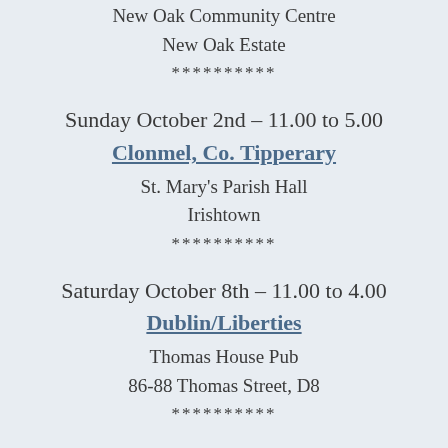New Oak Community Centre
New Oak Estate
**********
Sunday October 2nd – 11.00 to 5.00
Clonmel, Co. Tipperary
St. Mary's Parish Hall
Irishtown
**********
Saturday October 8th – 11.00 to 4.00
Dublin/Liberties
Thomas House Pub
86-88 Thomas Street, D8
**********
Sunday October 9th – 11.00 to 5.00